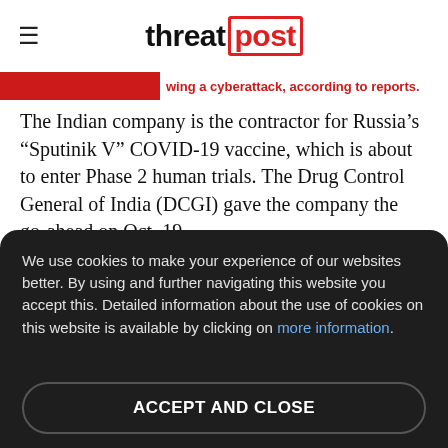threatpost
wing a cyberattack, according to reports.
The Indian company is the contractor for Russia's "Sputinik V" COVID-19 vaccine, which is about to enter Phase 2 human trials. The Drug Control General of India (DCGI) gave the company the go-ahead on Oct. 19.
In the U.S., it's a major producer of generics, including therapeutics for gastrointestinal, cardiovascular, pain management, oncology, anti-infectives, pediatrics and dermatology.
We use cookies to make your experience of our websites better. By using and further navigating this website you accept this. Detailed information about the use of cookies on this website is available by clicking on more information.
ACCEPT AND CLOSE
sources. FT said that th